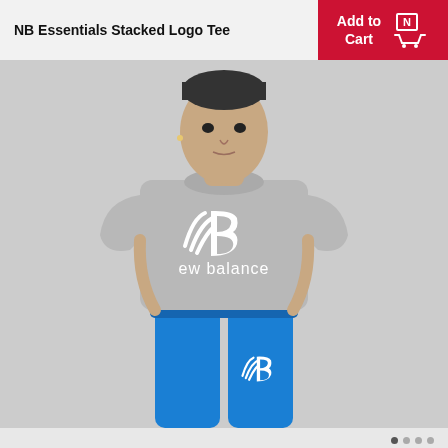NB Essentials Stacked Logo Tee
[Figure (photo): Man wearing a grey New Balance Essentials Stacked Logo Tee with white NB logo and 'ew balance' text on the chest, paired with bright blue New Balance jogger pants. Light grey background.]